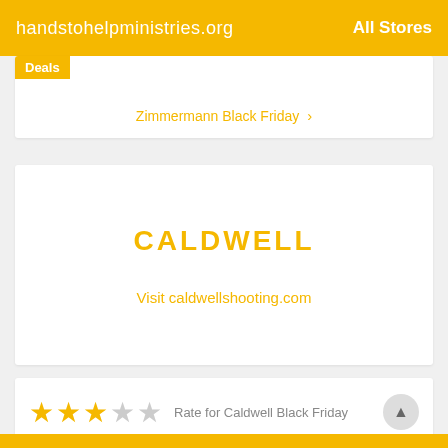handstohelpministries.org  All Stores
Deals
Zimmermann Black Friday >
CALDWELL
Visit caldwellshooting.com
Rate for Caldwell Black Friday  3.1 / 502 Votes